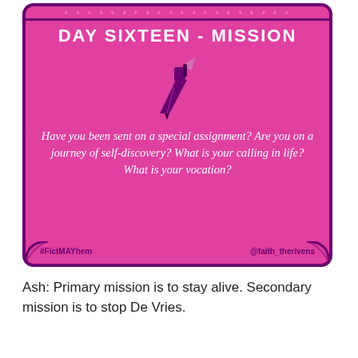[Figure (infographic): Pink promotional card with purple border titled 'DAY SIXTEEN - MISSION' featuring a pen nib icon, a scripted quote about mission and vocation, hashtag #FictMAYhem and handle @faith_therivens]
Ash: Primary mission is to stay alive. Secondary mission is to stop De Vries.